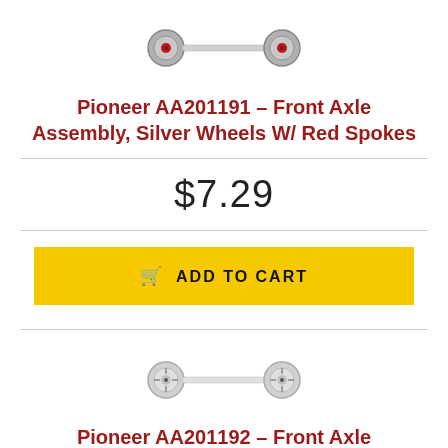[Figure (photo): Front axle assembly with silver wheels and red spokes — small model train part, horizontal dumbbell shape]
Pioneer AA201191 – Front Axle Assembly, Silver Wheels W/ Red Spokes
$7.29
ADD TO CART
[Figure (photo): Front axle assembly with silver/chrome wheels — small model train part, horizontal dumbbell shape]
Pioneer AA201192 – Front Axle